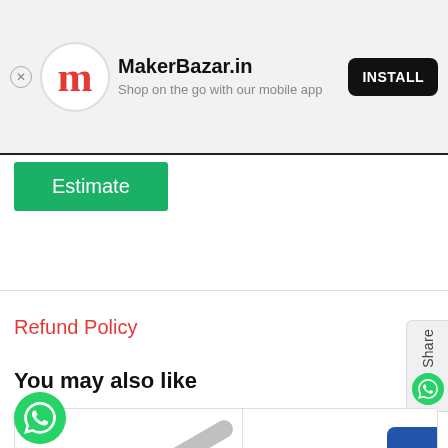[Figure (screenshot): MakerBazar.in app install banner with logo, title, subtitle and install button]
Estimate
Refund Policy
Share
You may also like
[Figure (photo): Product image showing soldering iron tip]
[Figure (photo): Product image partially visible on right (blue electronic component)]